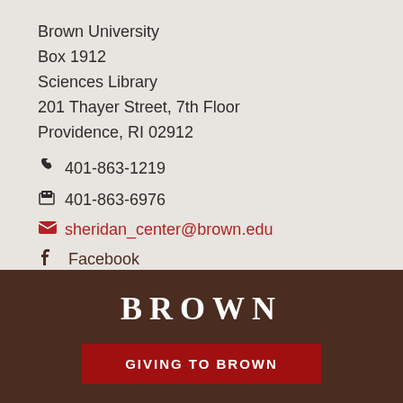Brown University
Box 1912
Sciences Library
201 Thayer Street, 7th Floor
Providence, RI 02912
401-863-1219
401-863-6976
sheridan_center@brown.edu
Facebook
BROWN
GIVING TO BROWN